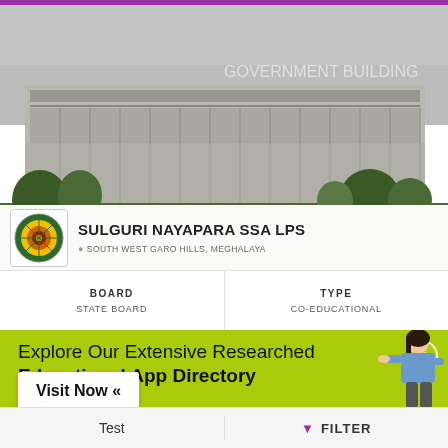[Figure (photo): School building facade with trees in foreground, government/institutional style multi-storey building]
SULGURI NAYAPARA SSA LPS
SOUTH WEST GARO HILLS, MEGHALAYA
| BOARD | TYPE |
| --- | --- |
| STATE BOARD | CO-EDUCATIONAL |
[Figure (infographic): Green advertisement banner: Explore Our Extensive Researched Educational App Directory. Visit Now button. Girl pointing figure on right.]
Explore Our Extensive Researched Educational App Directory
Visit Now «
Test    FILTER